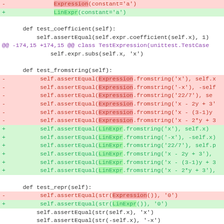[Figure (screenshot): A code diff view showing Python unittest code. Red lines show removed code using 'Expression' class, green lines show added code using 'LinExpr' class. Purple lines show hunk headers. The diff covers test_coefficient, test_fromstring, test_repr, and test_fromsympy methods.]